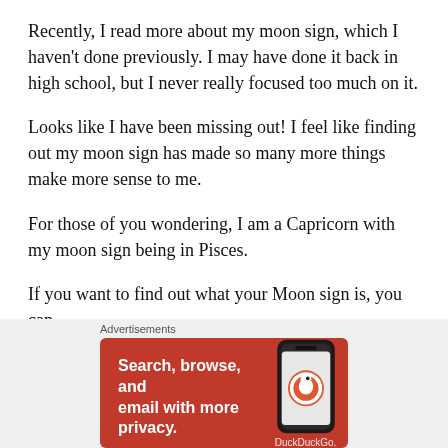Recently, I read more about my moon sign, which I haven't done previously. I may have done it back in high school, but I never really focused too much on it.
Looks like I have been missing out! I feel like finding out my moon sign has made so many more things make more sense to me.
For those of you wondering, I am a Capricorn with my moon sign being in Pisces.
If you want to find out what your Moon sign is, you can here.
It will ask for your birthday, what time you were born
Advertisements
[Figure (screenshot): DuckDuckGo advertisement banner: orange/red background with white text 'Search, browse, and email with more privacy.' and white button 'All in One Free App' with a phone image showing the DuckDuckGo logo and brand name.]